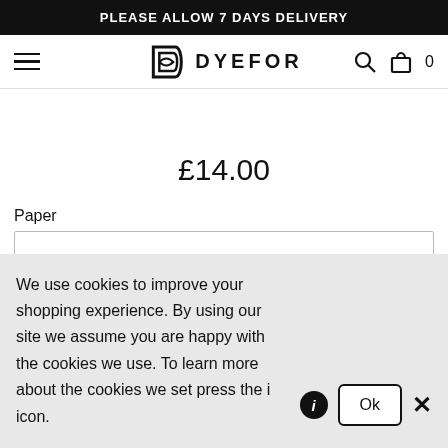PLEASE ALLOW 7 DAYS DELIVERY
[Figure (logo): Dyefor brand logo with stylized D icon and DYEFOR text]
£14.00
Paper
We use cookies to improve your shopping experience. By using our site we assume you are happy with the cookies we use. To learn more about the cookies we set press the i icon.